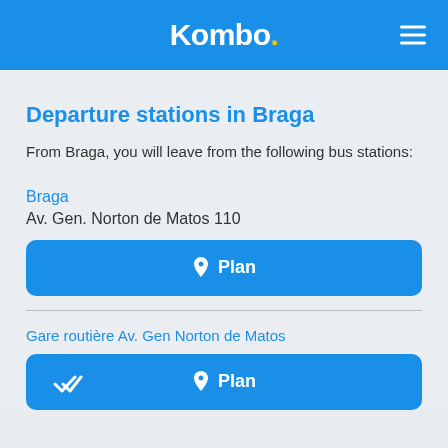Kombo.
Departure stations in Braga
From Braga, you will leave from the following bus stations:
Braga
Av. Gen. Norton de Matos 110
Plan
Gare routière Av. Gen Norton de Matos
Plan